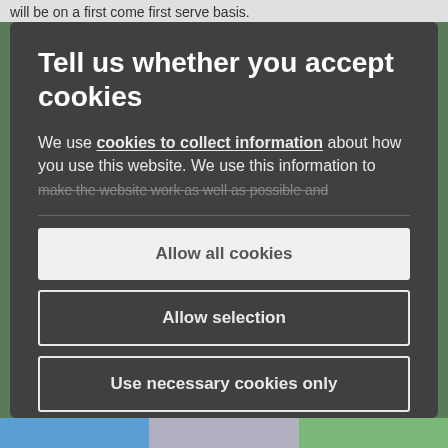will be on a first come first serve basis.
Tell us whether you accept cookies
We use cookies to collect information about how you use this website. We use this information to make the website work as well as possible and
Allow all cookies
Allow selection
Use necessary cookies only
Powered by Cookiebot by Usercentrics